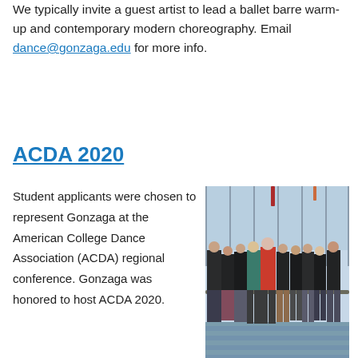We typically invite a guest artist to lead a ballet barre warm-up and contemporary modern choreography. Email dance@gonzaga.edu for more info.
ACDA 2020
Student applicants were chosen to represent Gonzaga at the American College Dance Association (ACDA) regional conference. Gonzaga was honored to host ACDA 2020.
[Figure (photo): Group photo of dance students and instructor standing together in a studio with large windows, wearing dance attire in various colors including black, red, teal, and earth tones, posing in front of a ballet barre.]